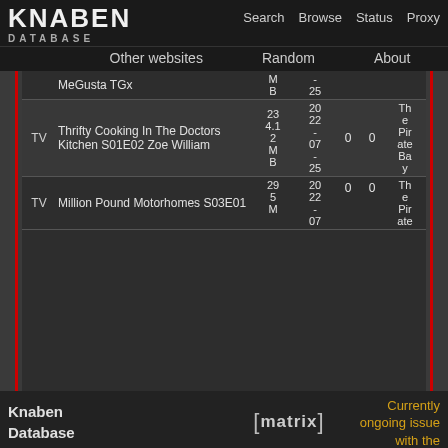KNABEN DATABASE | Search | Browse | Status | Proxy | Other websites | Random | About
| Type | Name | Size | Date | S | L | Source |
| --- | --- | --- | --- | --- | --- | --- |
|  | MeGusta TGx | M B | - 25 |  |  |  |
| TV | Thrifty Cooking In The Doctors Kitchen S01E02 Zoe William | 234.12 MB | 2022-07-25 | 0 | 0 | The Pirate Bay |
| TV | Million Pound Motorhomes S03E01 | 295 M | 2022-07 | 0 | 0 | The Pirate |
Knaben Database | [matrix] | Currently ongoing issue with the database, we're working on it